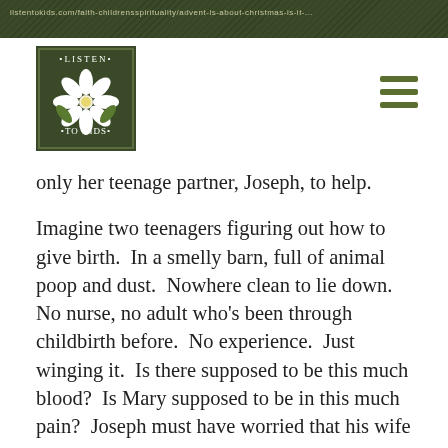listentokids.com/faith-childrensspirituality/advent-is-about-christmas-is-it-...
[Figure (logo): Listen To Kids logo — square dark green border with white flower and green leaves, text 'LISTEN TO KIDS']
only her teenage partner, Joseph, to help.
Imagine two teenagers figuring out how to give birth.  In a smelly barn, full of animal poop and dust.  Nowhere clean to lie down.  No nurse, no adult who's been through childbirth before.  No experience.  Just winging it.  Is there supposed to be this much blood?  Is Mary supposed to be in this much pain?  Joseph must have worried that his wife and baby might not live through this. It would be human to be terrified.  It would be normal to feel abandoned and alone.  Somehow,